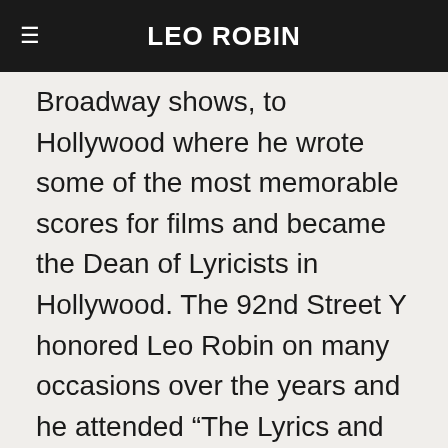LEO ROBIN
Broadway shows, to Hollywood where he wrote some of the most memorable scores for films and became the Dean of Lyricists in Hollywood. The 92nd Street Y honored Leo Robin on many occasions over the years and he attended “The Lyrics and Lyricists: Lyrics For Film” Program when it presented an evening at The 92nd Street Y in 1982 to honor Leo Robin’s unforgettable contribution to musical film. To access more details of this event held at the 92nd Street Y, click on the image: